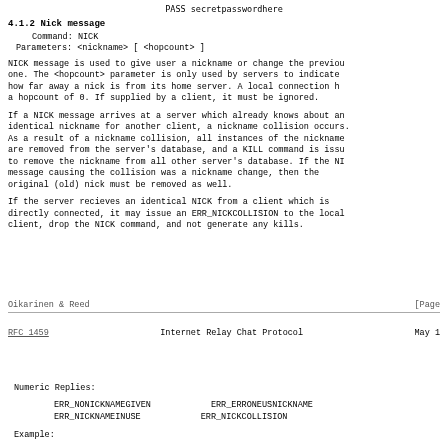PASS secretpasswordhere
4.1.2 Nick message
Command: NICK
Parameters: <nickname> [ <hopcount> ]
NICK message is used to give user a nickname or change the previous one. The <hopcount> parameter is only used by servers to indicate how far away a nick is from its home server. A local connection has a hopcount of 0. If supplied by a client, it must be ignored.
If a NICK message arrives at a server which already knows about an identical nickname for another client, a nickname collision occurs. As a result of a nickname collision, all instances of the nickname are removed from the server's database, and a KILL command is issued to remove the nickname from all other server's database. If the NICK message causing the collision was a nickname change, then the original (old) nick must be removed as well.
If the server recieves an identical NICK from a client which is directly connected, it may issue an ERR_NICKCOLLISION to the local client, drop the NICK command, and not generate any kills.
Oikarinen & Reed                                                        [Page
RFC 1459              Internet Relay Chat Protocol                    May 1
Numeric Replies:
ERR_NONICKNAMEGIVEN    ERR_ERRONEUSNICKNAME
ERR_NICKNAMEINUSE      ERR_NICKCOLLISION
Example: